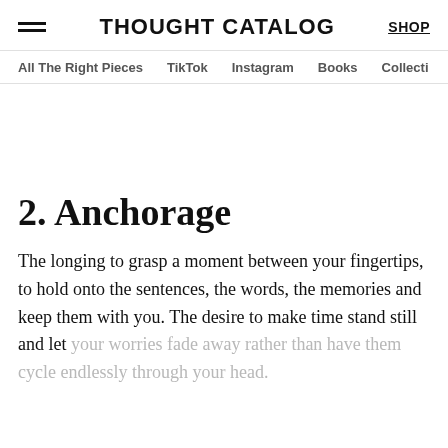THOUGHT CATALOG
2. Anchorage
The longing to grasp a moment between your fingertips, to hold onto the sentences, the words, the memories and keep them with you. The desire to make time stand still and let your worries fade away rather than have them cycle endlessly through your head.